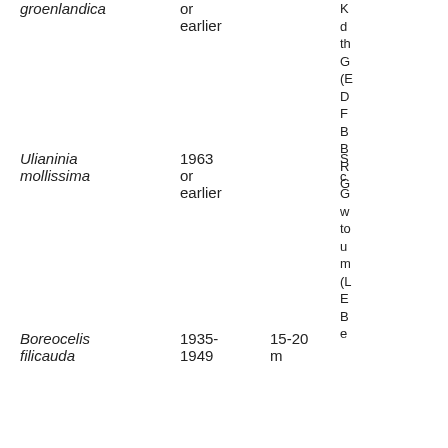groenlandica
or earlier
Ulianinia mollissima
1963 or earlier
Boreocelis filicauda
1935-1949   15-20 m